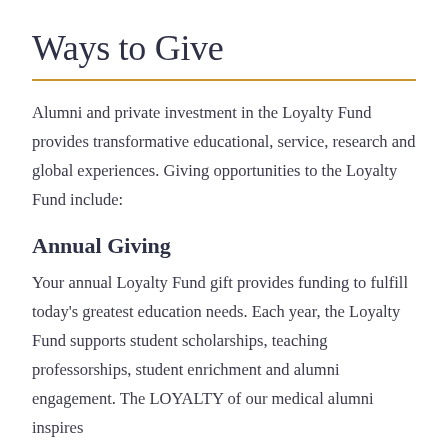Ways to Give
Alumni and private investment in the Loyalty Fund provides transformative educational, service, research and global experiences. Giving opportunities to the Loyalty Fund include:
Annual Giving
Your annual Loyalty Fund gift provides funding to fulfill today's greatest education needs. Each year, the Loyalty Fund supports student scholarships, teaching professorships, student enrichment and alumni engagement. The LOYALTY of our medical alumni inspires